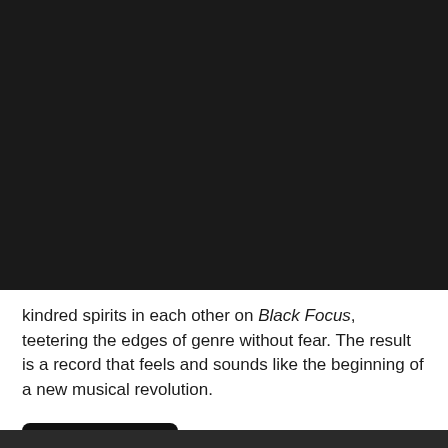Subscribe for Email Updates
Type your name
Type your email
SUBMIT
kindred spirits in each other on Black Focus, teetering the edges of genre without fear. The result is a record that feels and sounds like the beginning of a new musical revolution.
BUY NOW